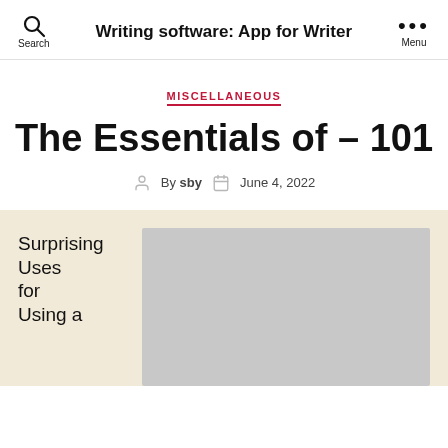Writing software: App for Writer
MISCELLANEOUS
The Essentials of – 101
By sby  June 4, 2022
Surprising Uses for Using a
[Figure (photo): Gray placeholder image for article content]